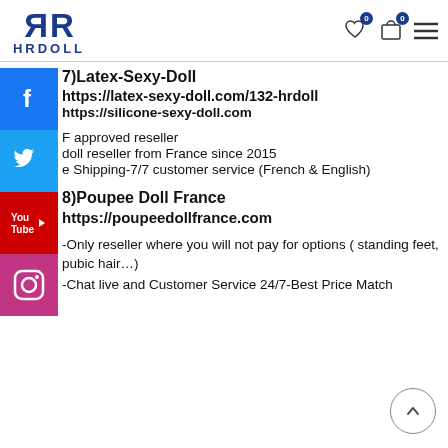HRDOLL logo with heart (0) and bag (0) icons and hamburger menu
[Figure (logo): HRDOLL logo with mirrored R letters in dark blue, with text HRDOLL below]
7)Latex-Sexy-Doll
https://latex-sexy-doll.com/132-hrdoll
https://silicone-sexy-doll.com
F approved reseller
doll reseller from France since 2015
e Shipping-7/7 customer service (French & English)
8)Poupee Doll France
https://poupeedollfrance.com
-Only reseller where you will not pay for options ( standing feet, pubic hair…)
-Chat live and Customer Service 24/7-Best Price Match